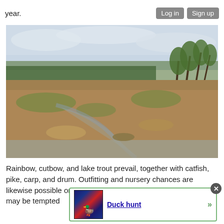year.   Log in   Sign up
[Figure (photo): Outdoor landscape photo showing a cleared dirt area with water channels, surrounded by tropical palm trees and vegetation under a cloudy sky]
Rainbow, cutbow, and lake trout prevail, together with catfish, pike, carp, and drum. Outfitting and nursery chances are likewise possible on ranches in Colorado for sale, though you may be tempted [popup overlay] e of marvelo [Duck hunt] »  tter location
[Figure (screenshot): Popup overlay showing Duck Hunt game box art with text 'Duck hunt' as a link and a green arrow, with a close button]